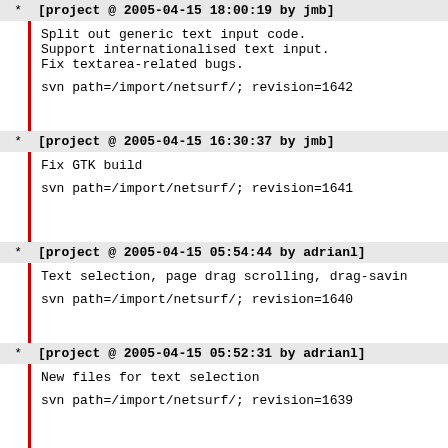[project @ 2005-04-15 18:00:19 by jmb]
Split out generic text input code.
Support internationalised text input.
Fix textarea-related bugs.

svn path=/import/netsurf/; revision=1642
[project @ 2005-04-15 16:30:37 by jmb]
Fix GTK build

svn path=/import/netsurf/; revision=1641
[project @ 2005-04-15 05:54:44 by adrianl]
Text selection, page drag scrolling, drag-savin

svn path=/import/netsurf/; revision=1640
[project @ 2005-04-15 05:52:31 by adrianl]
New files for text selection

svn path=/import/netsurf/; revision=1639